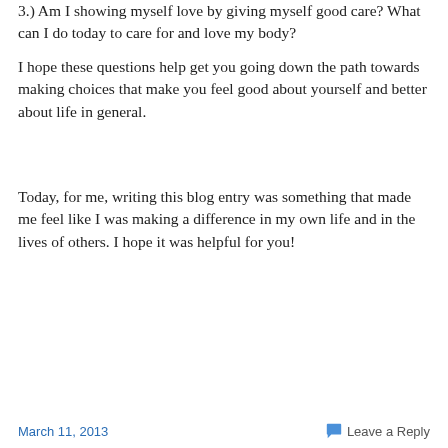3.) Am I showing myself love by giving myself good care? What can I do today to care for and love my body?
I hope these questions help get you going down the path towards making choices that make you feel good about yourself and better about life in general.
Today, for me, writing this blog entry was something that made me feel like I was making a difference in my own life and in the lives of others. I hope it was helpful for you!
March 11, 2013    Leave a Reply